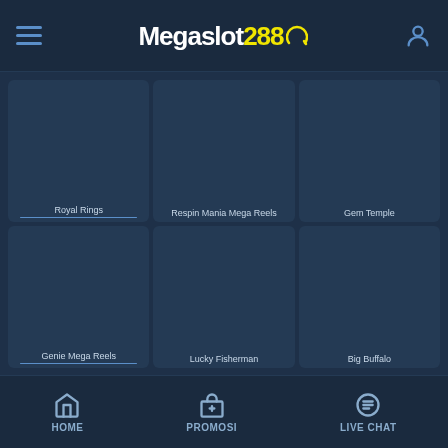Megaslot288 - navigation header with hamburger menu and user icon
[Figure (screenshot): Game card - Royal Rings slot game thumbnail]
Royal Rings
[Figure (screenshot): Game card - Respin Mania Mega Reels slot game thumbnail]
Respin Mania Mega Reels
[Figure (screenshot): Game card - Gem Temple slot game thumbnail]
Gem Temple
[Figure (screenshot): Game card - Genie Mega Reels slot game thumbnail]
Genie Mega Reels
[Figure (screenshot): Game card - Lucky Fisherman slot game thumbnail]
Lucky Fisherman
[Figure (screenshot): Game card - Big Buffalo slot game thumbnail]
Big Buffalo
HOME | PROMOSI | LIVE CHAT